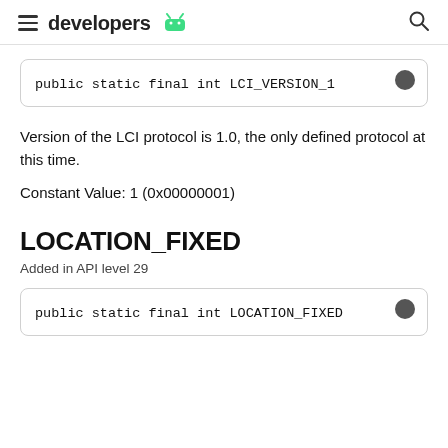developers
public static final int LCI_VERSION_1
Version of the LCI protocol is 1.0, the only defined protocol at this time.
Constant Value: 1 (0x00000001)
LOCATION_FIXED
Added in API level 29
public static final int LOCATION_FIXED